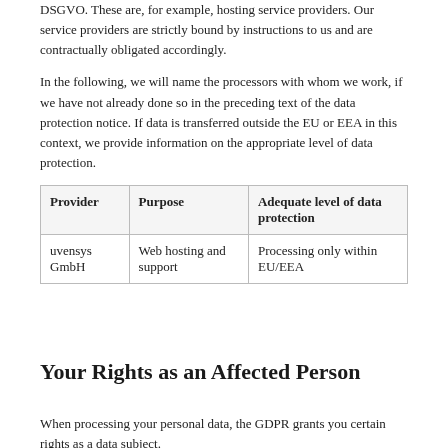DSGVO. These are, for example, hosting service providers. Our service providers are strictly bound by instructions to us and are contractually obligated accordingly.
In the following, we will name the processors with whom we work, if we have not already done so in the preceding text of the data protection notice. If data is transferred outside the EU or EEA in this context, we provide information on the appropriate level of data protection.
| Provider | Purpose | Adequate level of data protection |
| --- | --- | --- |
| uvensys GmbH | Web hosting and support | Processing only within EU/EEA |
Your Rights as an Affected Person
When processing your personal data, the GDPR grants you certain rights as a data subject.